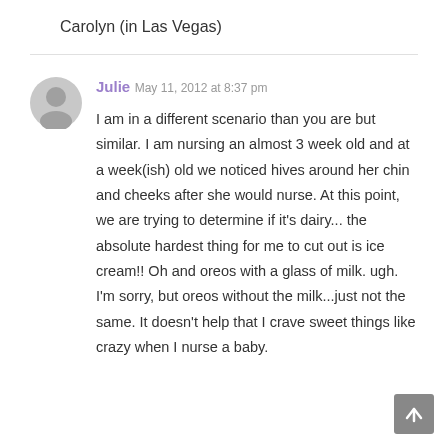Carolyn (in Las Vegas)
Julie
May 11, 2012 at 8:37 pm
I am in a different scenario than you are but similar. I am nursing an almost 3 week old and at a week(ish) old we noticed hives around her chin and cheeks after she would nurse. At this point, we are trying to determine if it's dairy... the absolute hardest thing for me to cut out is ice cream!! Oh and oreos with a glass of milk. ugh. I'm sorry, but oreos without the milk...just not the same. It doesn't help that I crave sweet things like crazy when I nurse a baby.